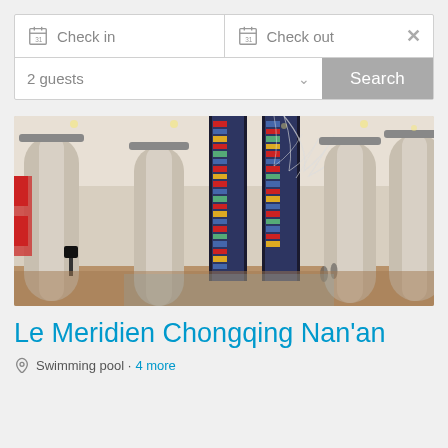[Figure (screenshot): Hotel booking search widget with Check in, Check out date pickers and 2 guests dropdown with Search button]
[Figure (photo): Interior lobby of Le Meridien Chongqing Nan'an hotel showing tall marble columns, decorative glass towers, and a chandelier]
Le Meridien Chongqing Nan'an
Swimming pool · 4 more